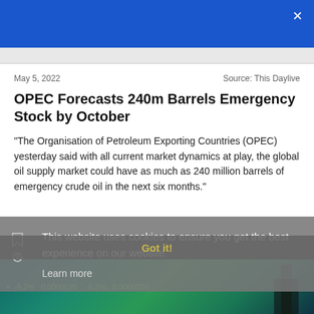×
May 5, 2022
Source: This Daylive
OPEC Forecasts 240m Barrels Emergency Stock by October
"The Organisation of Petroleum Exporting Countries (OPEC) yesterday said with all current market dynamics at play, the global oil supply market could have as much as 240 million barrels of emergency crude oil in the next six months."
This website uses cookies to ensure you get the best experience on our website.
Learn more
Got it!
[Figure (photo): Financial ticker/chart image strip at the bottom with stock data overlay and a silhouette figure]